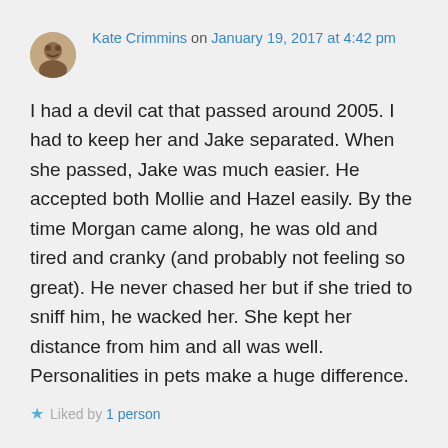Kate Crimmins on January 19, 2017 at 4:42 pm
I had a devil cat that passed around 2005. I had to keep her and Jake separated. When she passed, Jake was much easier. He accepted both Mollie and Hazel easily. By the time Morgan came along, he was old and tired and cranky (and probably not feeling so great). He never chased her but if she tried to sniff him, he wacked her. She kept her distance from him and all was well. Personalities in pets make a huge difference.
Liked by 1 person